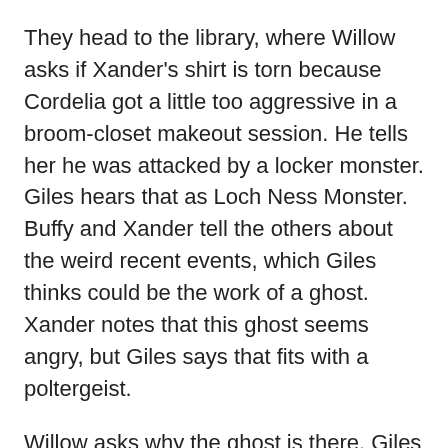They head to the library, where Willow asks if Xander's shirt is torn because Cordelia got a little too aggressive in a broom-closet makeout session. He tells her he was attacked by a locker monster. Giles hears that as Loch Ness Monster. Buffy and Xander tell the others about the weird recent events, which Giles thinks could be the work of a ghost. Xander notes that this ghost seems angry, but Giles says that fits with a poltergeist.
Willow asks why the ghost is there. Giles says he might not know. He might not be able to find a way to make peace, so he lashes out in confusion. Buffy comments that sounds like a normal teen. Giles says the only way to stop a poltergeist is to figure out why it's still there and help resolve its issues. First they'll have to find out whose ghost they're dealing with.